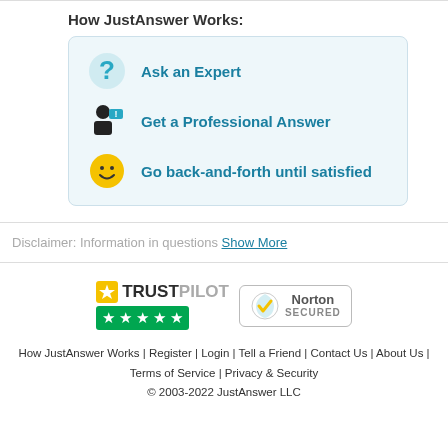How JustAnswer Works:
Ask an Expert
Get a Professional Answer
Go back-and-forth until satisfied
Disclaimer: Information in questions Show More
[Figure (logo): Trustpilot logo with 5 green stars and Norton Secured badge]
How JustAnswer Works | Register | Login | Tell a Friend | Contact Us | About Us | Terms of Service | Privacy & Security © 2003-2022 JustAnswer LLC